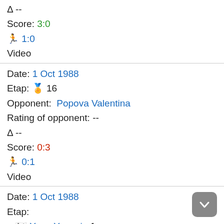Δ --
Score: 3:0
🏃 1:0
Video
Date: 1 Oct 1988
Etap: 🏅 16
Opponent: Popova Valentina
Rating of opponent: --
Δ --
Score: 0:3
🏃 0:1
Video
Date: 1 Oct 1988
Etap:
+ 🇰🇷 Yang Youngja 1
Opponent: Owolabi Kubrat Akanmu Iyabo
Rating of opponent: --